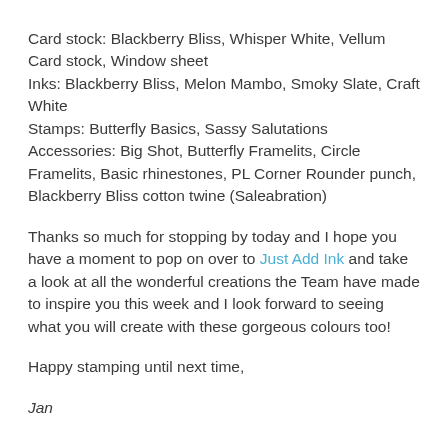Card stock: Blackberry Bliss, Whisper White, Vellum Card stock, Window sheet
Inks: Blackberry Bliss, Melon Mambo, Smoky Slate, Craft White
Stamps: Butterfly Basics, Sassy Salutations
Accessories: Big Shot, Butterfly Framelits, Circle Framelits, Basic rhinestones, PL Corner Rounder punch, Blackberry Bliss cotton twine (Saleabration)
Thanks so much for stopping by today and I hope you have a moment to pop on over to Just Add Ink and take a look at all the wonderful creations the Team have made to inspire you this week and I look forward to seeing what you will create with these gorgeous colours too!
Happy stamping until next time,
Jan